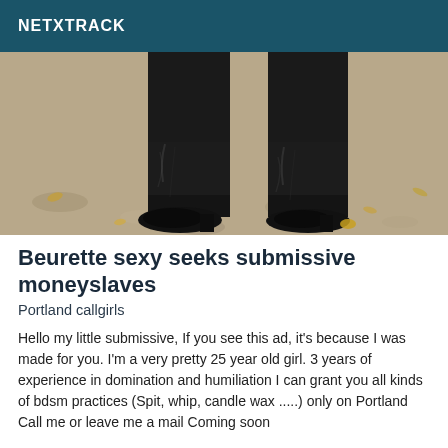NETXTRACK
[Figure (photo): Photo showing lower legs and feet of a person wearing black leather high-heeled boots, standing on a gravel/dirt surface with scattered dry leaves.]
Beurette sexy seeks submissive moneyslaves
Portland callgirls
Hello my little submissive, If you see this ad, it's because I was made for you. I'm a very pretty 25 year old girl. 3 years of experience in domination and humiliation I can grant you all kinds of bdsm practices (Spit, whip, candle wax .....) only on Portland Call me or leave me a mail Coming soon